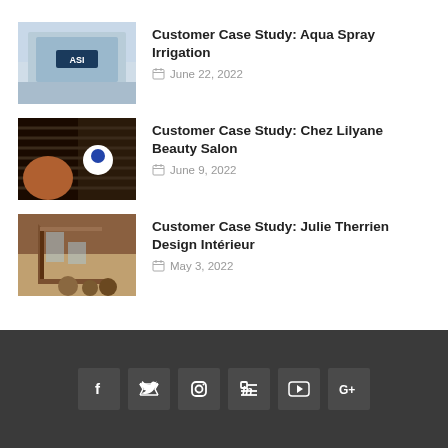[Figure (photo): Aqua Spray Irrigation building exterior with ASI logo]
Customer Case Study: Aqua Spray Irrigation
June 22, 2022
[Figure (photo): Woman with braided hair, Chez Lilyane Beauty Salon]
Customer Case Study: Chez Lilyane Beauty Salon
June 9, 2022
[Figure (photo): Interior staircase with glass railing, Julie Therrien Design Intérieur]
Customer Case Study: Julie Therrien Design Intérieur
May 3, 2022
Social media icons: Facebook, Twitter, Instagram, LinkedIn, YouTube, Google+